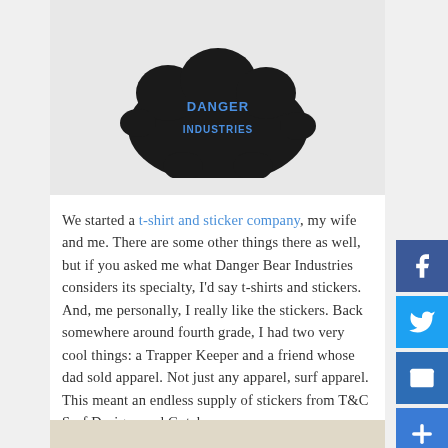[Figure (logo): Danger Bear Industries logo — black cloud/bear shape silhouette with blue text 'DANGER BEAR INDUSTRIES' inside]
We started a t-shirt and sticker company, my wife and me. There are some other things there as well, but if you asked me what Danger Bear Industries considers its specialty, I'd say t-shirts and stickers. And, me personally, I really like the stickers. Back somewhere around fourth grade, I had two very cool things: a Trapper Keeper and a friend whose dad sold apparel. Not just any apparel, surf apparel. This meant an endless supply of stickers from T&C Surf Designs and Gotcha
[Figure (photo): Partial bottom image, appears to be a photo with beige/tan background]